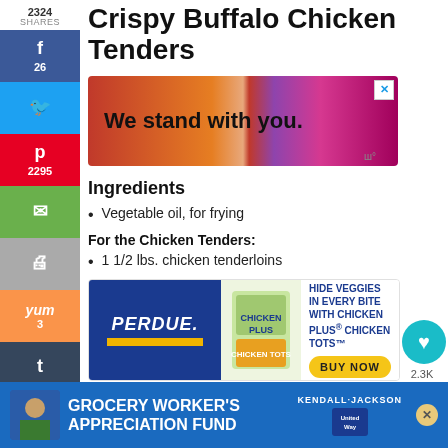Crispy Buffalo Chicken Tenders
[Figure (infographic): Advertisement banner: colorful gradient background with text 'We stand with you.']
Ingredients
Vegetable oil, for frying
For the Chicken Tenders:
1 1/2 lbs. chicken tenderloins
[Figure (infographic): Perdue Chicken Plus Chicken Tots advertisement with logo, product image, text 'HIDE VEGGIES IN EVERY BITE WITH CHICKEN PLUS CHICKEN TOTS' and BUY NOW button]
1 1/3 cups all-purpose flour
1 large egg
3 Tbsp. hot sauce, divided
[Figure (infographic): Grocery Worker's Appreciation Fund advertisement with Kendall-Jackson and United Way logos]